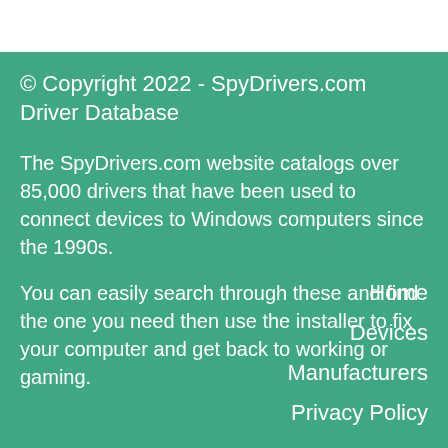© Copyright 2022 - SpyDrivers.com Driver Database
The SpyDrivers.com website catalogs over 85,000 drivers that have been used to connect devices to Windows computers since the 1990s.
You can easily search through these and find the one you need then use the installer to fix your computer and get back to working or gaming.
Home
Devices
Manufacturers
Privacy Policy